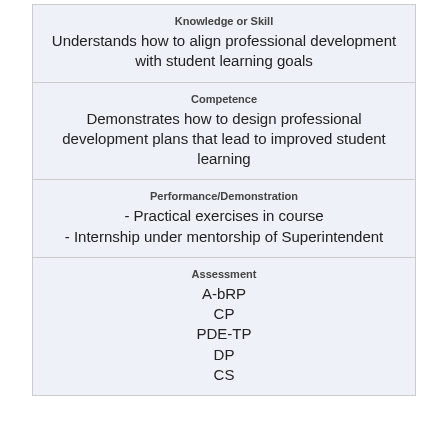| Knowledge or Skill
Understands how to align professional development with student learning goals |
| Competence
Demonstrates how to design professional development plans that lead to improved student learning |
| Performance/Demonstration
- Practical exercises in course
- Internship under mentorship of Superintendent |
| Assessment
A-bRP
CP
PDE-TP
DP
CS |